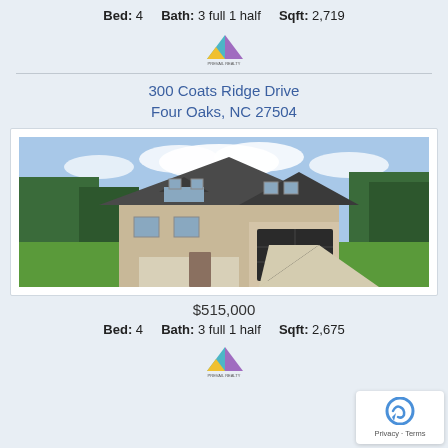Bed: 4    Bath: 3 full 1 half    Sqft: 2,719
[Figure (logo): Real estate company logo with colorful triangles]
300 Coats Ridge Drive
Four Oaks, NC 27504
[Figure (photo): Two-story house with beige siding, dark roof, black garage door, green lawn, concrete driveway, trees in background]
$515,000
Bed: 4    Bath: 3 full 1 half    Sqft: 2,675
[Figure (logo): Real estate company logo with colorful triangles]